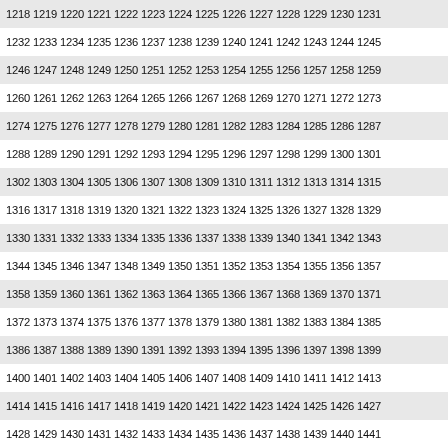1218 1219 1220 1221 1222 1223 1224 1225 1226 1227 1228 1229 1230 1231
1232 1233 1234 1235 1236 1237 1238 1239 1240 1241 1242 1243 1244 1245
1246 1247 1248 1249 1250 1251 1252 1253 1254 1255 1256 1257 1258 1259
1260 1261 1262 1263 1264 1265 1266 1267 1268 1269 1270 1271 1272 1273
1274 1275 1276 1277 1278 1279 1280 1281 1282 1283 1284 1285 1286 1287
1288 1289 1290 1291 1292 1293 1294 1295 1296 1297 1298 1299 1300 1301
1302 1303 1304 1305 1306 1307 1308 1309 1310 1311 1312 1313 1314 1315
1316 1317 1318 1319 1320 1321 1322 1323 1324 1325 1326 1327 1328 1329
1330 1331 1332 1333 1334 1335 1336 1337 1338 1339 1340 1341 1342 1343
1344 1345 1346 1347 1348 1349 1350 1351 1352 1353 1354 1355 1356 1357
1358 1359 1360 1361 1362 1363 1364 1365 1366 1367 1368 1369 1370 1371
1372 1373 1374 1375 1376 1377 1378 1379 1380 1381 1382 1383 1384 1385
1386 1387 1388 1389 1390 1391 1392 1393 1394 1395 1396 1397 1398 1399
1400 1401 1402 1403 1404 1405 1406 1407 1408 1409 1410 1411 1412 1413
1414 1415 1416 1417 1418 1419 1420 1421 1422 1423 1424 1425 1426 1427
1428 1429 1430 1431 1432 1433 1434 1435 1436 1437 1438 1439 1440 1441